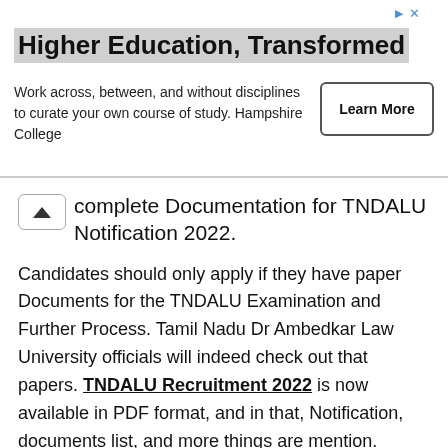[Figure (other): Advertisement banner for Hampshire College - Higher Education, Transformed with Learn More button]
complete Documentation for TNDALU Notification 2022.
Candidates should only apply if they have paper Documents for the TNDALU Examination and Further Process. Tamil Nadu Dr Ambedkar Law University officials will indeed check out that papers. TNDALU Recruitment 2022 is now available in PDF format, and in that, Notification, documents list, and more things are mention.
You need to do one thing that is too aware of the latest updates of TNDALU. Tamil Nadu Dr Ambedkar Law University Important Documents